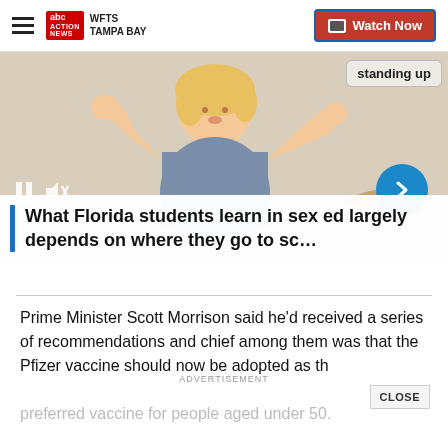WFTS TAMPA BAY | Watch Now
[Figure (illustration): Illustration of a blonde cartoon woman with arms raised, a speech bubble reading 'standing up' on the right, and video player controls (pause, mute) overlaid at bottom-left; a blue circle arrow button at bottom-right.]
What Florida students learn in sex ed largely depends on where they go to sc…
Prime Minister Scott Morrison said he'd received a series of recommendations and chief among them was that the Pfizer vaccine should now be adopted as th
preferred vaccine for people aged under 50.
ADVERTISEMENT
CLOSE